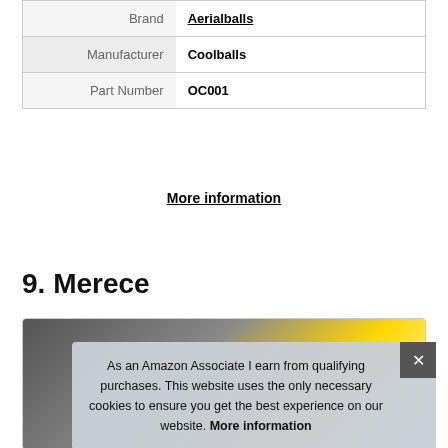|  |  |
| --- | --- |
| Brand | Aerialballs |
| Manufacturer | Coolballs |
| Part Number | OC001 |
More information
9. Merece
[Figure (photo): Product image partially visible behind cookie consent overlay]
As an Amazon Associate I earn from qualifying purchases. This website uses the only necessary cookies to ensure you get the best experience on our website. More information